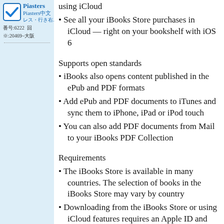[Figure (other): Left sidebar panel with user profile: checkbox icon with blue checkmark, username 'Piasters', Japanese text, ID numbers]
using iCloud
• See all your iBooks Store purchases in iCloud — right on your bookshelf with iOS 6
Supports open standards
• iBooks also opens content published in the ePub and PDF formats
• Add ePub and PDF documents to iTunes and sync them to iPhone, iPad or iPod touch
• You can also add PDF documents from Mail to your iBooks PDF Collection
Requirements
• The iBooks Store is available in many countries. The selection of books in the iBooks Store may vary by country
• Downloading from the iBooks Store or using iCloud features requires an Apple ID and Internet access
• Support for books with Asian or right-to-left languages requires iOS 6 or later
• All books created with iBooks Author can only be read with iBooks on iPad
• Books created with iBooks Author require iOS 5 or later. iBooks Author 2 requires iOS